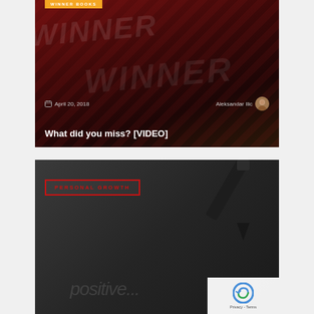[Figure (photo): Dark red background with book covers showing WINNER text, overlaid with blog post metadata and title]
April 20, 2018
Aleksandar Ilic
What did you miss? [VIDEO]
[Figure (photo): Dark gray background with a pen writing 'positive' script text, with a PERSONAL GROWTH category badge]
PERSONAL GROWTH